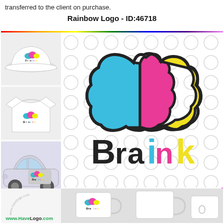transferred to the client on purchase.
Rainbow Logo - ID:46718
[Figure (logo): Braink logo mockup on hat, t-shirt, and car. The main logo shows a colorful brain shape with cyan, magenta, and yellow sections, labeled 'Braink' in bold with colored letters. Also shows mugs with the logo at the bottom. Website watermark: www.HaveLogo.com]